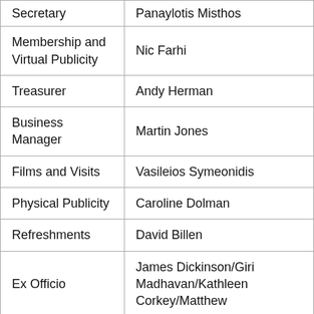| Role | Name |
| --- | --- |
| Secretary | Panaylotis Misthos |
| Membership and Virtual Publicity | Nic Farhi |
| Treasurer | Andy Herman |
| Business Manager | Martin Jones |
| Films and Visits | Vasileios Symeonidis |
| Physical Publicity | Caroline Dolman |
| Refreshments | David Billen |
| Ex Officio | James Dickinson/Giri Madhavan/Kathleen Corkey/Matthew |